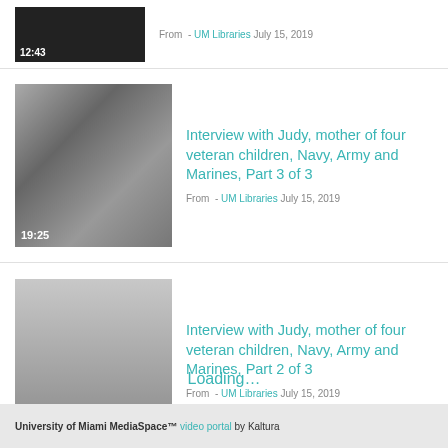[Figure (screenshot): Video thumbnail with black background showing 12:43 duration]
From - UM Libraries July 15, 2019
[Figure (screenshot): Black and white video thumbnail of a woman (Judy), duration 19:25]
Interview with Judy, mother of four veteran children, Navy, Army and Marines, Part 3 of 3
From - UM Libraries July 15, 2019
[Figure (screenshot): Gray gradient video thumbnail, duration 12:42]
Interview with Judy, mother of four veteran children, Navy, Army and Marines, Part 2 of 3
From - UM Libraries July 15, 2019
Loading...
University of Miami MediaSpace™ video portal by Kaltura